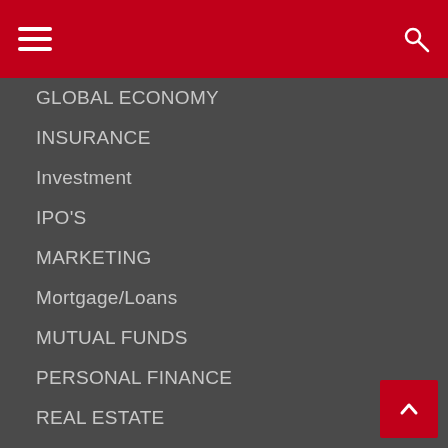Navigation menu header with hamburger icon and search icon
GLOBAL ECONOMY
INSURANCE
Investment
IPO'S
MARKETING
Mortgage/Loans
MUTUAL FUNDS
PERSONAL FINANCE
REAL ESTATE
RETAIL
SMALL BUSINESS
STOCKS
TAXES
Trending Stories